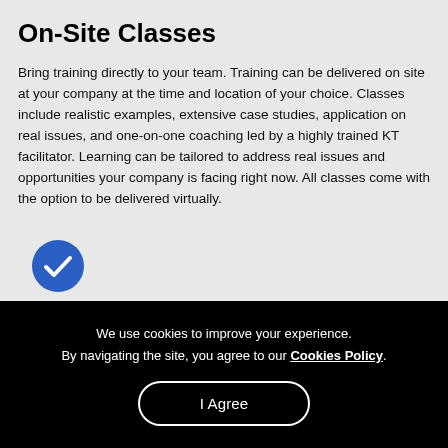On-Site Classes
Bring training directly to your team. Training can be delivered on site at your company at the time and location of your choice. Classes include realistic examples, extensive case studies, application on real issues, and one-on-one coaching led by a highly trained KT facilitator. Learning can be tailored to address real issues and opportunities your company is facing right now. All classes come with the option to be delivered virtually.
[Figure (illustration): Blue circle with white checkmark icon]
We use cookies to improve your experience. By navigating the site, you agree to our Cookies Policy.
I Agree